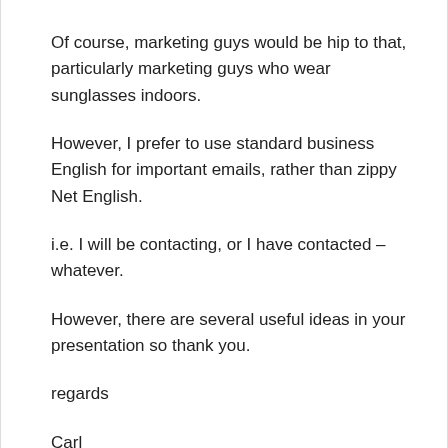Of course, marketing guys would be hip to that, particularly marketing guys who wear sunglasses indoors.
However, I prefer to use standard business English for important emails, rather than zippy Net English.
i.e. I will be contacting, or I have contacted – whatever.
However, there are several useful ideas in your presentation so thank you.
regards
Carl
Reply